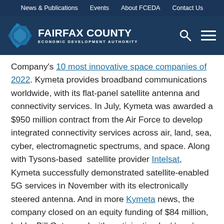News & Publications  Events  About FCEDA  Contact Us
[Figure (logo): Fairfax County Economic Development Authority logo with blue diamond shape and white text]
Company's 10 most innovative space companies of 2022. Kymeta provides broadband communications worldwide, with its flat-panel satellite antenna and connectivity services. In July, Kymeta was awarded a $950 million contract from the Air Force to develop integrated connectivity services across air, land, sea, cyber, electromagnetic spectrums, and space. Along with Tysons-based satellite provider Intelsat, Kymeta successfully demonstrated satellite-enabled 5G services in November with its electronically steered antenna. And in more Kymeta news, the company closed on an equity funding of $84 million, led by Bill Gates and with participation by Hanwha Systems, which has a Tysons